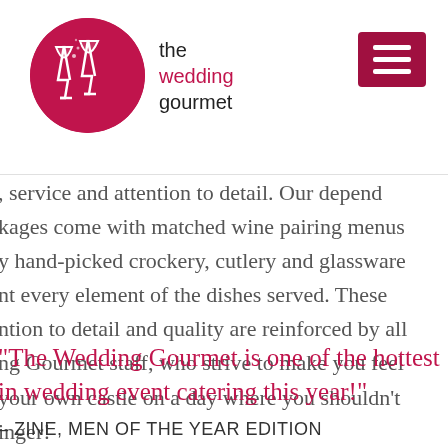the wedding gourmet
service and attention to detail. Our packages come with matched wine pairing menus y hand-picked crockery, cutlery and glassware nt every element of the dishes served. These ntion to detail and quality are reinforced by all ng Gourmet staff, who strive to make you feel your own castle on a day where you shouldn't inger!
"The Wedding Gourmet is one of the hottest in wedding event catering this year!"
MAGAZINE, MEN OF THE YEAR EDITION
o enquire with the friendly and experienced urmet team about bringing your unique wedding